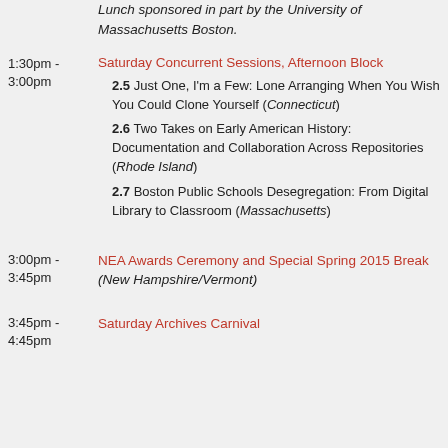Lunch sponsored in part by the University of Massachusetts Boston.
1:30pm - 3:00pm
Saturday Concurrent Sessions, Afternoon Block
2.5 Just One, I'm a Few: Lone Arranging When You Wish You Could Clone Yourself (Connecticut)
2.6 Two Takes on Early American History: Documentation and Collaboration Across Repositories (Rhode Island)
2.7 Boston Public Schools Desegregation: From Digital Library to Classroom (Massachusetts)
3:00pm - 3:45pm
NEA Awards Ceremony and Special Spring 2015 Break (New Hampshire/Vermont)
3:45pm - 4:45pm
Saturday Archives Carnival